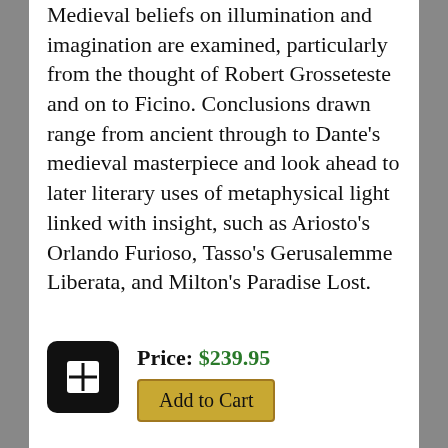Medieval beliefs on illumination and imagination are examined, particularly from the thought of Robert Grosseteste and on to Ficino. Conclusions drawn range from ancient through to Dante's medieval masterpiece and look ahead to later literary uses of metaphysical light linked with insight, such as Ariosto's Orlando Furioso, Tasso's Gerusalemme Liberata, and Milton's Paradise Lost.
Price: $239.95
Add to Cart
Studies in the Role of Cities in Arthurian Literature and in the Value of Arthurian Literature for a Civic Identity: When Arthuriana